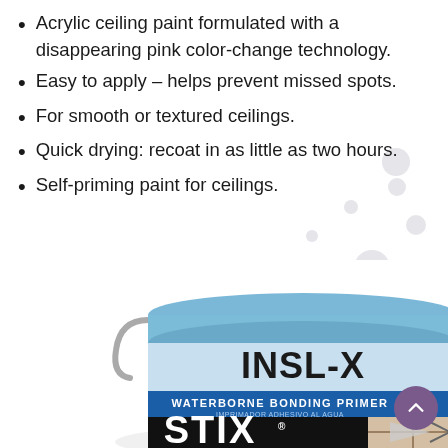Acrylic ceiling paint formulated with a disappearing pink color-change technology.
Easy to apply – helps prevent missed spots.
For smooth or textured ceilings.
Quick drying: recoat in as little as two hours.
Self-priming paint for ceilings.
[Figure (photo): INSL-X STIX Waterborne Bonding Primer paint can, light blue lid, with INSL-X logo and STIX branding visible]